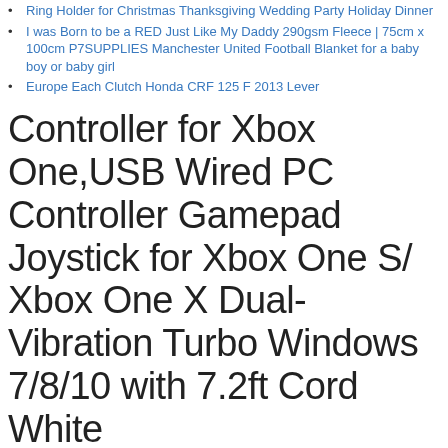Ring Holder for Christmas Thanksgiving Wedding Party Holiday Dinner
I was Born to be a RED Just Like My Daddy 290gsm Fleece | 75cm x 100cm P7SUPPLIES Manchester United Football Blanket for a baby boy or baby girl
Europe Each Clutch Honda CRF 125 F 2013 Lever
Controller for Xbox One,USB Wired PC Controller Gamepad Joystick for Xbox One S/ Xbox One X Dual-Vibration Turbo Windows 7/8/10 with 7.2ft Cord White
PINK CAR GRAND Universal Rainbow Car Seat Covers Full Seat Airbag Competiable Washable for Car Truck SUV
Binglinghua Commercial Blender Spare Parts 2L Square Container Jar Jug Pitcher Cup Bottom with Serrated Smoothies Blades Lid for Model